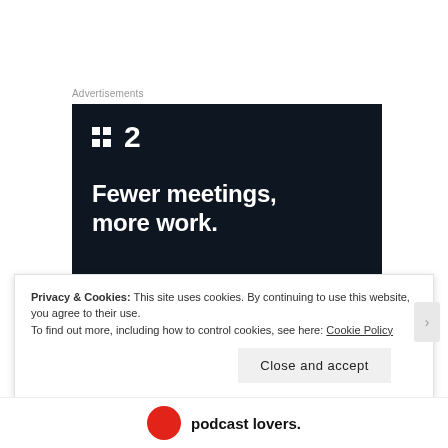Advertisements
[Figure (other): Advertisement for a project management tool. Dark navy background with white logo showing two squares and the number 2, and bold white text reading 'Fewer meetings, more work.']
Over the course of 12 hysterical hours, I developed a
Privacy & Cookies: This site uses cookies. By continuing to use this website, you agree to their use.
To find out more, including how to control cookies, see here: Cookie Policy
Close and accept
podcast lovers.